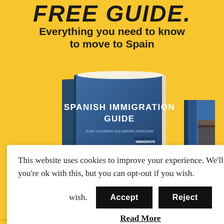FREE GUIDE.
Everything you need to know to move to Spain
[Figure (illustration): A book titled 'SPANISH IMMIGRATION GUIDE' with a blue cover, standing upright at an angle on a yellow background.]
This website uses cookies to improve your experience. We'll assume you're ok with this, but you can opt-out if you wish.
Accept | Reject
Read More